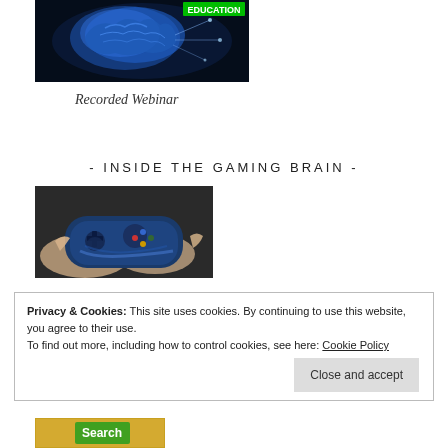[Figure (photo): Blue digital brain with 'EDUCATION' text and neural connections on dark background]
Recorded Webinar
- INSIDE THE GAMING BRAIN -
[Figure (photo): Hands holding a blue video game controller]
Privacy & Cookies: This site uses cookies. By continuing to use this website, you agree to their use.
To find out more, including how to control cookies, see here: Cookie Policy
[Figure (photo): Search banner image at bottom]